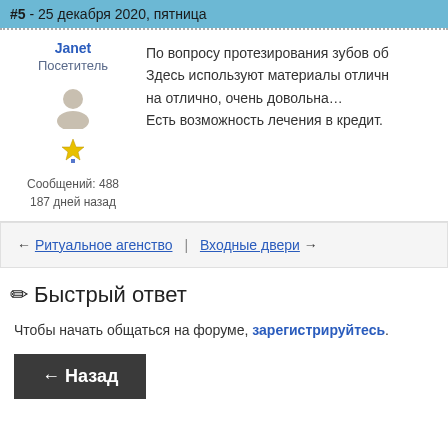#5 - 25 декабря 2020, пятница
Janet
Посетитель
Сообщений: 488
187 дней назад
По вопросу протезирования зубов об... Здесь используют материалы отличн... на отлично, очень довольна... Есть возможность лечения в кредит.
← Ритуальное агенство | Входные двери →
✏ Быстрый ответ
Чтобы начать общаться на форуме, зарегистрируйтесь.
← Назад